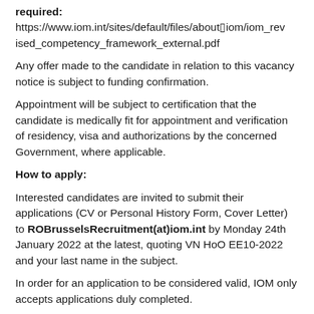required:
https://www.iom.int/sites/default/files/about▯iom/iom_revised_competency_framework_external.pdf
Any offer made to the candidate in relation to this vacancy notice is subject to funding confirmation.
Appointment will be subject to certification that the candidate is medically fit for appointment and verification of residency, visa and authorizations by the concerned Government, where applicable.
How to apply:
Interested candidates are invited to submit their applications (CV or Personal History Form, Cover Letter) to ROBrusselsRecruitment(at)iom.int by Monday 24th January 2022 at the latest, quoting VN HoO EE10-2022 and your last name in the subject.
In order for an application to be considered valid, IOM only accepts applications duly completed.
Only shortlisted candidates will be contacted.